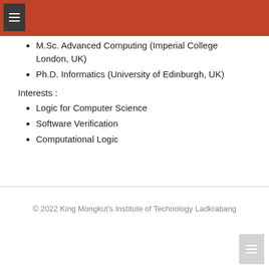M.Sc. Advanced Computing (Imperial College London, UK)
Ph.D. Informatics (University of Edinburgh, UK)
Interests :
Logic for Computer Science
Software Verification
Computational Logic
© 2022 King Mongkut's Institute of Technology Ladkrabang